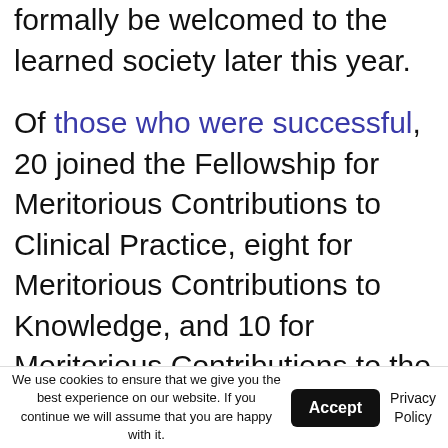formally be welcomed to the learned society later this year.
Of those who were successful, 20 joined the Fellowship for Meritorious Contributions to Clinical Practice, eight for Meritorious Contributions to Knowledge, and 10 for Meritorious Contributions to the Profession. Particularly significant was the fact that more than half of the successful applicants were women.
Professor John Innes (pictured)
We use cookies to ensure that we give you the best experience on our website. If you continue we will assume that you are happy with it.